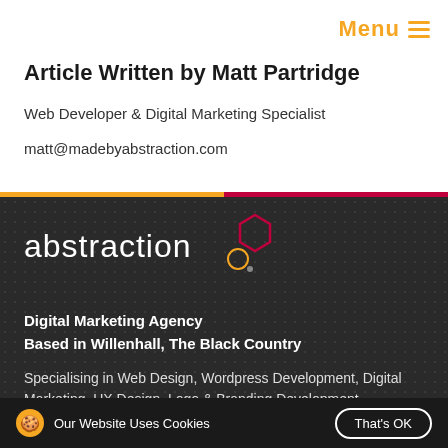Menu
Article Written by Matt Partridge
Web Developer & Digital Marketing Specialist
matt@madebyabstraction.com
[Figure (logo): Abstraction digital marketing agency logo with geometric hexagon and circle shapes above the word 'abstraction' in white lowercase text on dark background]
Digital Marketing Agency
Based in Willenhall, The Black Country
Specialising in Web Design, Wordpress Development, Digital Marketing, UX Design, Logo & Branding Development
Our Website Uses Cookies   That's OK